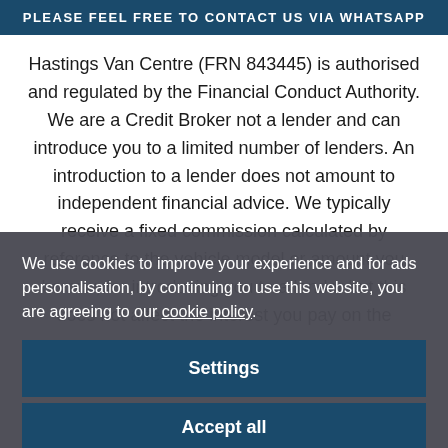PLEASE FEEL FREE TO CONTACT US VIA WHATSAPP
Hastings Van Centre (FRN 843445) is authorised and regulated by the Financial Conduct Authority. We are a Credit Broker not a lender and can introduce you to a limited number of lenders. An introduction to a lender does not amount to independent financial advice. We typically receive a fixed commission calculated by reference to the vehicle model or amount you borrow, for introducing you to a lender but this does not affect the interest you pay on the
We use cookies to improve your experience and for ads personalisation, by continuing to use this website, you are agreeing to our cookie policy.
Settings
Accept all